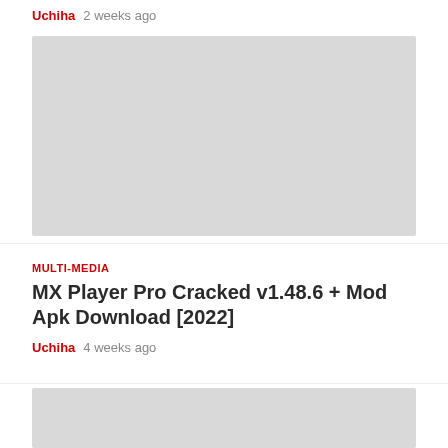Uchiha  2 weeks ago
[Figure (other): Gray placeholder image block]
MULTI-MEDIA
MX Player Pro Cracked v1.48.6 + Mod Apk Download [2022]
Uchiha  4 weeks ago
[Figure (other): Gray placeholder image block (partial, bottom of page)]